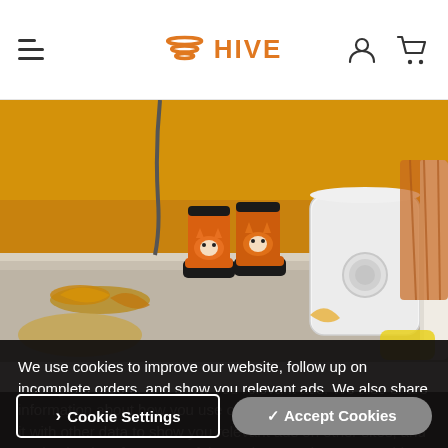HIVE (navigation bar with hamburger menu, logo, account icon, cart icon)
[Figure (photo): Product photo of a Hive smart heater device (white rectangular unit) placed on the floor next to orange children's rain boots with fox faces, against a yellow/orange wall background with dried autumn leaves on the floor.]
We use cookies to improve our website, follow up on incomplete orders, and show you relevant ads. We also share information about how you use our site with partners, who use it with other data to show you relevant ads on other sites, and to check ad performance. If that's okay, continue to use this site or click "Accept Cookies".
Cookie Settings
✓ Accept Cookies